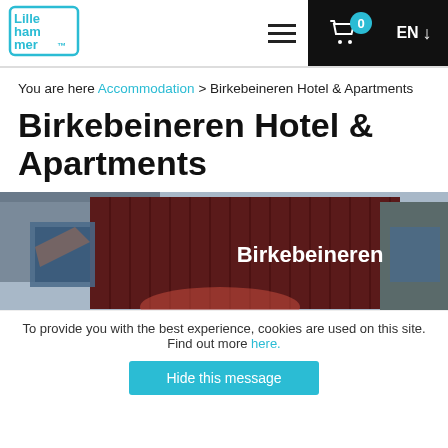[Figure (logo): Lillehammer tourism logo with cyan stylized text]
You are here Accommodation > Birkebeineren Hotel & Apartments
Birkebeineren Hotel & Apartments
[Figure (photo): Exterior photo of Birkebeineren Hotel building with red/dark wood cladding and signage reading 'Birkebeineren']
To provide you with the best experience, cookies are used on this site. Find out more here.
Hide this message